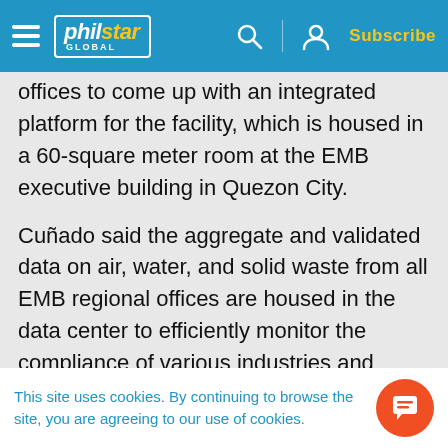philstar GLOBAL — Subscribe
offices to come up with an integrated platform for the facility, which is housed in a 60-square meter room at the EMB executive building in Quezon City.
Cuñado said the aggregate and validated data on air, water, and solid waste from all EMB regional offices are housed in the data center to efficiently monitor the compliance of various industries and establishments.
The DENR, meanwhile, said the facility would s...
This site uses cookies. By continuing to browse the site, you are agreeing to our use of cookies.